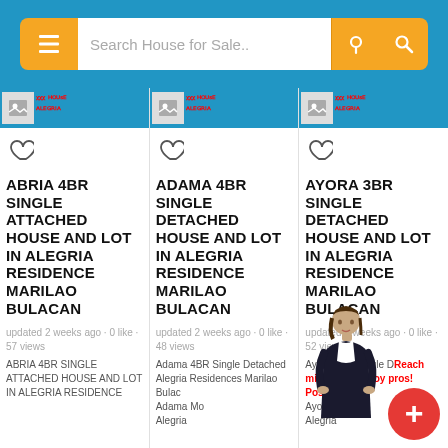[Figure (screenshot): Search bar with menu icon, text input 'Search House for Sale..', location pin and search button on blue background]
[Figure (screenshot): Column 1: listing card for ABRIA 4BR SINGLE ATTACHED HOUSE AND LOT IN ALEGRIA RESIDENCE MARILAO BULACAN, updated 2 weeks ago, 0 like, 57 views]
[Figure (screenshot): Column 2: listing card for ADAMA 4BR SINGLE DETACHED HOUSE AND LOT IN ALEGRIA RESIDENCE MARILAO BULACAN, updated 2 weeks ago, 0 like, 48 views]
[Figure (screenshot): Column 3: listing card for AYORA 3BR SINGLE DETACHED HOUSE AND LOT IN ALEGRIA RESIDENCE MARILAO BULACAN, updated 2 weeks ago, 0 like, 52 views, with promo overlay 'Reach millions of Pinoy pros! Post mo na!']